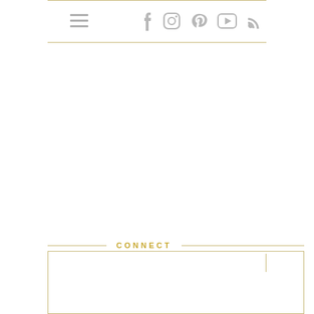Navigation header with hamburger menu and social media icons (Facebook, Instagram, Pinterest, YouTube, RSS)
CONNECT